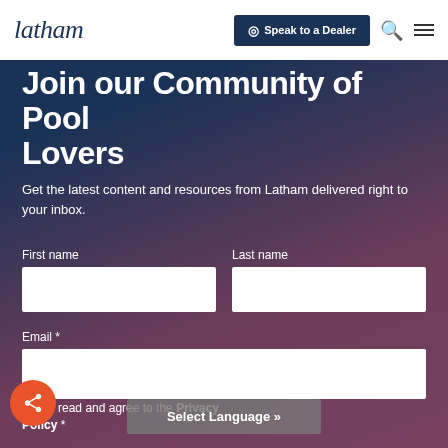latham | Speak to a Dealer
Join our Community of Pool Lovers
Get the latest content and resources from Latham delivered right to your inbox.
First name
Last name
Email *
I have read and agree to the Privacy Policy *
Select Language »